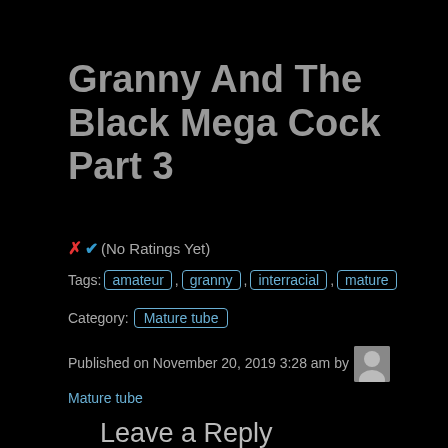Granny And The Black Mega Cock Part 3
✗✔ (No Ratings Yet)
Tags: amateur, granny, interracial, mature
Category: Mature tube
Published on November 20, 2019 3:28 am by Mature tube
Leave a Reply
Your email address will not be published. Required fields are marked *
Comment